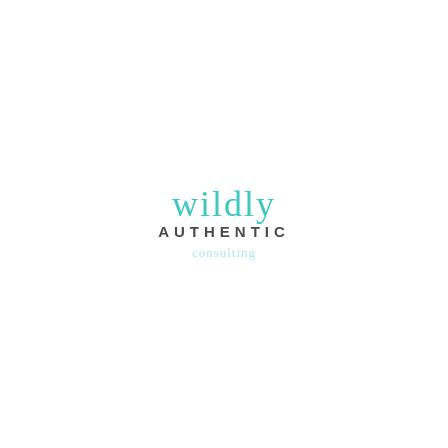[Figure (logo): Wildly Authentic logo: script text 'wildly' in teal/turquoise above bold sans-serif 'AUTHENTIC' in dark gray, with a small teal cursive script decoration below]